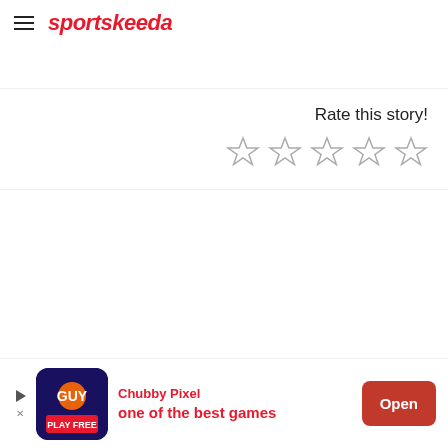sportskeeda
Rate this story!
[Figure (other): Five empty star rating icons for user interaction]
[Figure (other): Advertisement banner: Chubby Pixel game ad with 'one of the best games' text and Open button]